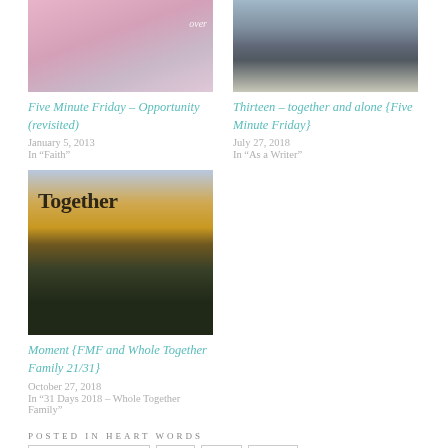[Figure (photo): Close-up of pink flowers with text overlay 'over']
Five Minute Friday – Opportunity (revisited)
January 5, 2013
In "Faith"
[Figure (photo): Person running on a road with a bridge in the background]
Thirteen – together and alone {Five Minute Friday}
July 27, 2018
In "As a Writer"
[Figure (photo): Silhouette of family with sun in background, text 'Together' overlay]
Moment {FMF and Whole Together Family 21/31}
October 27, 2018
In "31 Days 2018 – Whole Together Family"
POSTED IN HEART WORDS
FIVE MINUTE FRIDAY
GOD
SELF
STORY